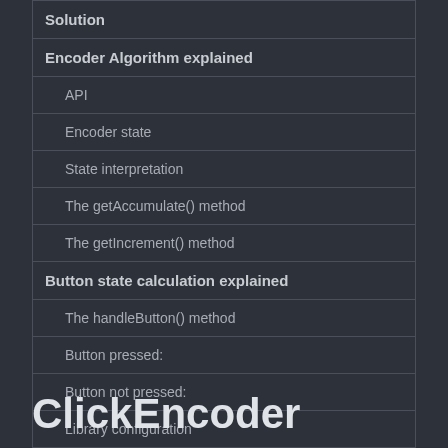Solution
Encoder Algorithm explained
API
Encoder state
State interpretation
The getAccumulate() method
The getIncrement() method
Button state calculation explained
The handleButton() method
Button pressed:
Button not pressed:
Library configuration
Use it in your project!
ClickEncoder